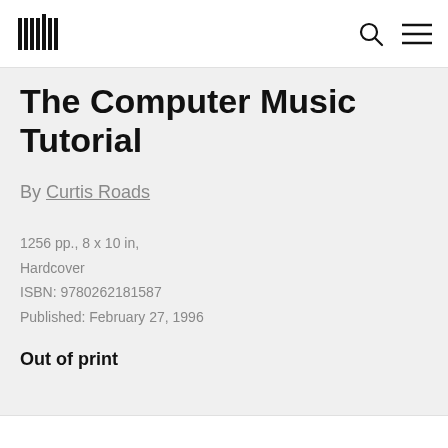MIT Press logo, search icon, menu icon
The Computer Music Tutorial
By Curtis Roads
1256 pp., 8 x 10 in,
Hardcover
ISBN: 9780262181587
Published: February 27, 1996
Out of print